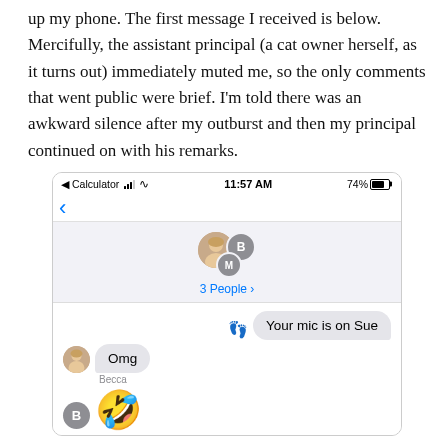up my phone. The first message I received is below. Mercifully, the assistant principal (a cat owner herself, as it turns out) immediately muted me, so the only comments that went public were brief. I'm told there was an awkward silence after my outburst and then my principal continued on with his remarks.
[Figure (screenshot): iPhone iMessage group chat screenshot showing status bar with Calculator, signal, WiFi, 11:57 AM, 74% battery. Group chat header with 3 People. Messages: 'Your mic is on Sue' (delivered, with footsteps emoji), 'Omg' from Becca with photo avatar, and a rolling-on-floor-laughing emoji from B avatar.]